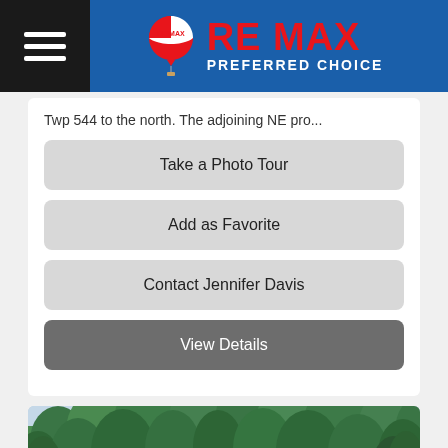RE MAX PREFERRED CHOICE
Twp 544 to the north. The adjoining NE pro...
Take a Photo Tour
Add as Favorite
Contact Jennifer Davis
View Details
[Figure (photo): Aerial view of a house with a dark shingled roof surrounded by dense green trees and forest, taken from above at an angle.]